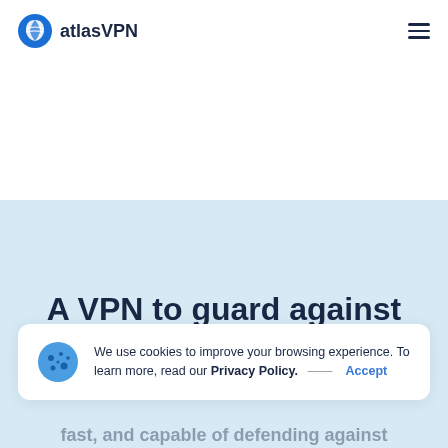[Figure (logo): atlasVPN logo with blue shield/signal icon and text 'atlasVPN']
[Figure (illustration): Light blue wave background with white top section creating a diagonal wave shape]
A VPN to guard against evil
We use cookies to improve your browsing experience. To learn more, read our Privacy Policy.  —  Accept
fast, and capable of defending against